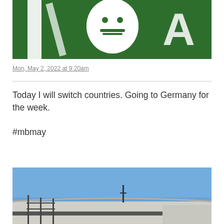[Figure (photo): Green background with white graphic/logo featuring a stylized face or figure with letters, appears to be a sign or banner]
Mon, May 2, 2022 at 9:20am
Today I will switch countries. Going to Germany for the week.

#mbmay
[Figure (photo): Airport or stadium building exterior under a clear blue sky, with roof structure and scaffolding visible]